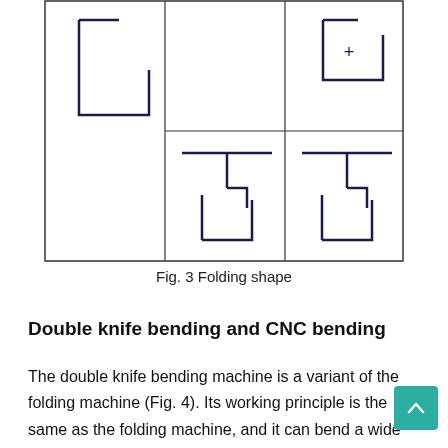[Figure (schematic): Table/grid showing folding shapes: top-left cell has an upside-down J shape, top-right cell has a similar J shape. Middle row center cell shows a T-shape, right cell shows T-shape with a plus sign. Bottom center and right cells show L-shapes. Three columns with ruled borders.]
Fig. 3 Folding shape
Double knife bending and CNC bending
The double knife bending machine is a variant of the folding machine (Fig. 4). Its working principle is the same as the folding machine, and it can bend a wide range of shapes and types.